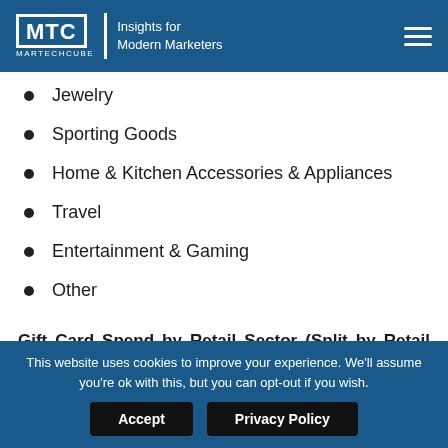MTC MARTECHCUBE | Insights for Modern Marketers
Jewelry
Sporting Goods
Home & Kitchen Accessories & Appliances
Travel
Entertainment & Gaming
Other
Gift Card Spend by Retail Sector (Split by Retail and Corporate Consumers) in Taiwan
This website uses cookies to improve your experience. We'll assume you're ok with this, but you can opt-out if you wish.